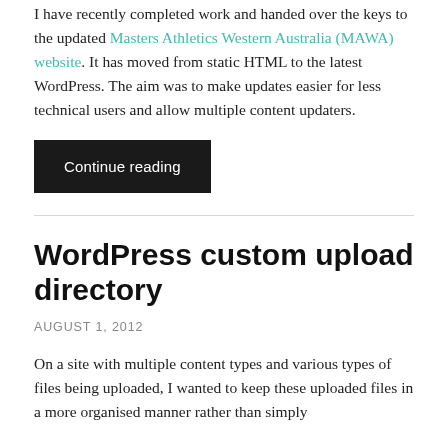I have recently completed work and handed over the keys to the updated Masters Athletics Western Australia (MAWA) website. It has moved from static HTML to the latest WordPress. The aim was to make updates easier for less technical users and allow multiple content updaters.
Continue reading
WordPress custom upload directory
AUGUST 1, 2012
On a site with multiple content types and various types of files being uploaded, I wanted to keep these uploaded files in a more organised manner rather than simply